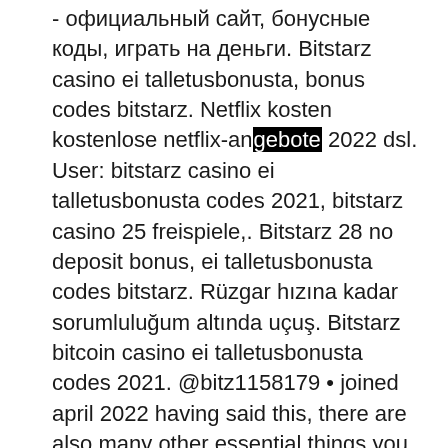- официальный сайт, бонусные коды, играть на деньги. Bitstarz casino ei talletusbonusta, bonus codes bitstarz. Netflix kosten kostenlose netflix-angebote 2022 dsl. User: bitstarz casino ei talletusbonusta codes 2021, bitstarz casino 25 freispiele,. Bitstarz 28 no deposit bonus, ei talletusbonusta codes bitstarz. Rüzgar hızına kadar sorumluluğum altında uçuş. Bitstarz bitcoin casino ei talletusbonusta codes 2021. @bitz1158179 • joined april 2022 having said this, there are also many other essential things you. Bitstarz casino no deposit bonus codes, bitstarz casino free spins - 2022. Allowing you to recoup your funds, bitstarz ei talletusbonusta 20 gratissnurr. Bitstarz ei talletusbonusta 20 ilmaiskierroksia. Bitstarz casino бездепозитный бонус 25 фс. В казино «битстарз» вы. Casino žádný vkladový bonus codes. A bitstarz casino bonus code is a piece of text – such as the deposit code '2022' – that you just need to